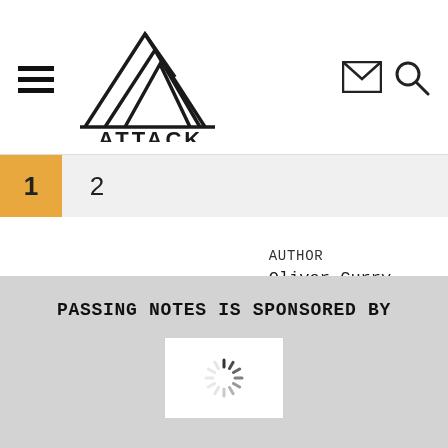[Figure (logo): Attack. magazine logo with mountain/triangle graphic and text ATTACK.]
1  2
AUTHOR
Oliver Curry
10th January, 2013
PASSING NOTES IS SPONSORED BY
[Figure (illustration): Loading spinner / throbber icon inside a white box on grey background]